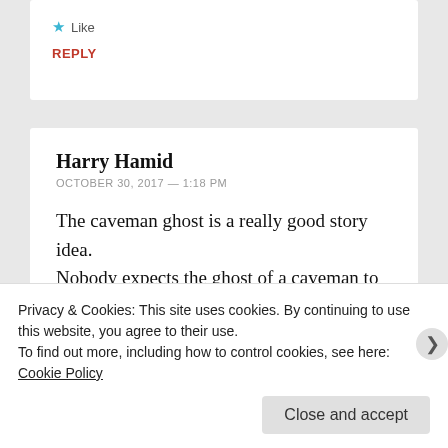Like
REPLY
Harry Hamid
OCTOBER 30, 2017 — 1:18 PM
The caveman ghost is a really good story idea. Nobody expects the ghost of a caveman to come haunting their house.
Privacy & Cookies: This site uses cookies. By continuing to use this website, you agree to their use.
To find out more, including how to control cookies, see here: Cookie Policy
Close and accept